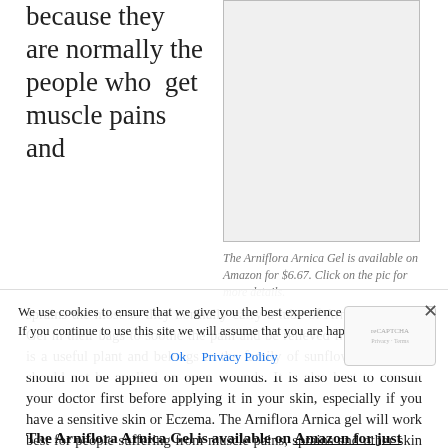because they are normally the people who get muscle pains and
[Figure (photo): Product image of Arniflora Arnica Gel]
The Arniflora Arnica Gel is available on Amazon for $6.67. Click on the pic for more details.
sprains the most so they normally carry a tube of Arniflora Arnica Gel in their bags to soothe the pain and be relieved from it. Arnica is a useful plant and belongs to the family of sunflowers. The gel should not be applied on open wounds. It is also best to consult your doctor first before applying it in your skin, especially if you have a sensitive skin or Eczema. The Arniflora Arnica gel will work best for people suffering from muscle pains, sprains and other skin conditions.
We use cookies to ensure that we give you the best experience on our website. If you continue to use this site we will assume that you are happy with it.
Ok   Privacy Policy
The Arniflora Arnica Gel is available on Amazon for just